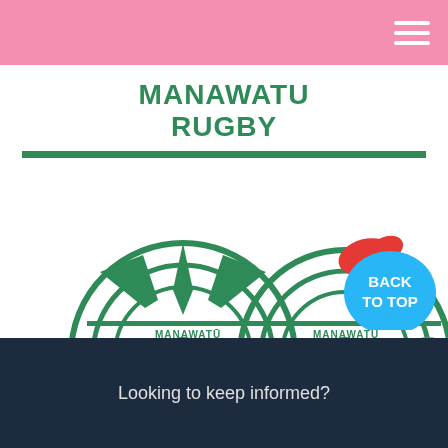MANAWATU RUGBY
[Figure (logo): Manawatu Turbos and Manawatu Cyclones rugby team logos in green on white background]
[Figure (illustration): Back to Top button with blue splash and red paint splatter]
Looking to keep informed?